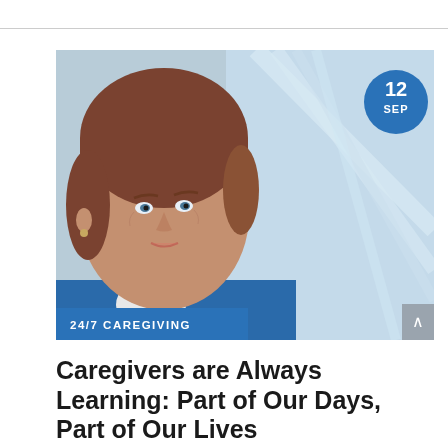[Figure (photo): Portrait photo of a middle-aged woman with short auburn hair, blue eyes, wearing a blue top, photographed in front of a glass structure background. A blue circular badge in the upper right shows '12 SEP'. A blue banner at the bottom left reads '24/7 CAREGIVING'.]
Caregivers are Always Learning: Part of Our Days, Part of Our Lives